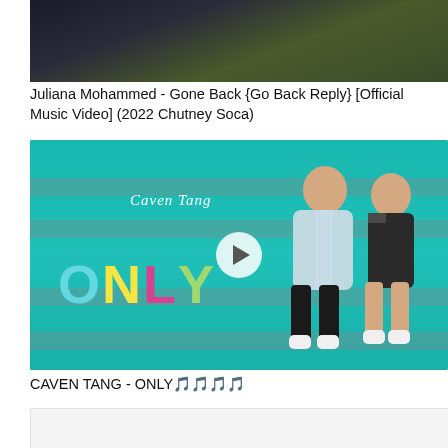[Figure (photo): Top portion of a video thumbnail showing a person outdoors with trees in background, partially cropped]
Juliana Mohammed - Gone Back {Go Back Reply} [Official Music Video] (2022 Chutney Soca)
[Figure (screenshot): YouTube video thumbnail for CAVEN TANG - ONLY music video, showing teal/turquoise background with colorful block letters spelling ONLY, two young people sitting, and a play button overlay]
CAVEN TANG - ONLY🎵🎵🎵🎵
[Figure (photo): Bottom portion of another video thumbnail, partially visible]